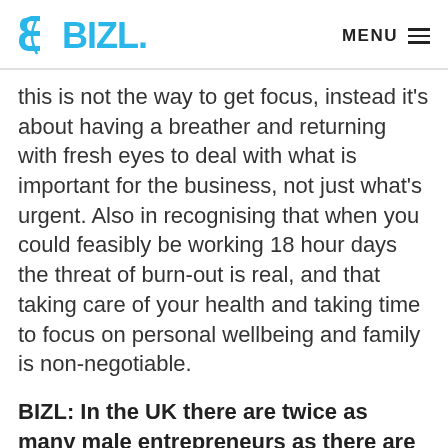BIZL. MENU
this is not the way to get focus, instead it's about having a breather and returning with fresh eyes to deal with what is important for the business, not just what's urgent. Also in recognising that when you could feasibly be working 18 hour days the threat of burn-out is real, and that taking care of your health and taking time to focus on personal wellbeing and family is non-negotiable.
BIZL: In the UK there are twice as many male entrepreneurs as there are female entrepreneurs. What can we do to see more